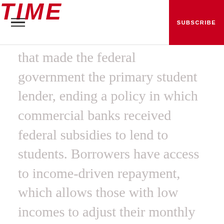TIME  SUBSCRIBE
that made the federal government the primary student lender, ending a policy in which commercial banks received federal subsidies to lend to students. Borrowers have access to income-driven repayment, which allows those with low incomes to adjust their monthly payments. Borrowers who become permanently disabled, or who enter public service careers such as teaching or government work, can be eligible for student loan forgiveness under the federal lending program.
None of these options are available to people with private loans.